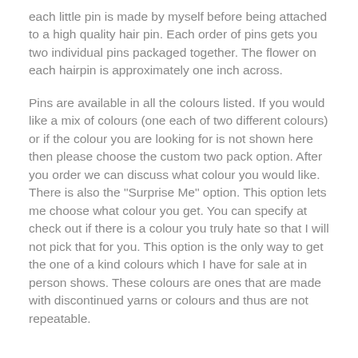each little pin is made by myself before being attached to a high quality hair pin. Each order of pins gets you two individual pins packaged together. The flower on each hairpin is approximately one inch across.
Pins are available in all the colours listed. If you would like a mix of colours (one each of two different colours) or if the colour you are looking for is not shown here then please choose the custom two pack option. After you order we can discuss what colour you would like. There is also the "Surprise Me" option. This option lets me choose what colour you get. You can specify at check out if there is a colour you truly hate so that I will not pick that for you. This option is the only way to get the one of a kind colours which I have for sale at in person shows. These colours are ones that are made with discontinued yarns or colours and thus are not repeatable.